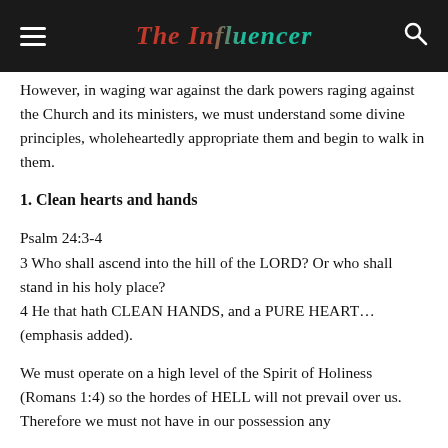The Influencer
However, in waging war against the dark powers raging against the Church and its ministers, we must understand some divine principles, wholeheartedly appropriate them and begin to walk in them.
1. Clean hearts and hands
Psalm 24:3-4
3 Who shall ascend into the hill of the LORD? Or who shall stand in his holy place?
4 He that hath CLEAN HANDS, and a PURE HEART… (emphasis added).
We must operate on a high level of the Spirit of Holiness (Romans 1:4) so the hordes of HELL will not prevail over us. Therefore we must not have in our possession any